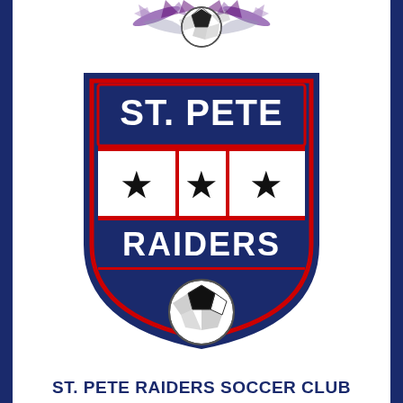[Figure (logo): Top decorative soccer ball with wings/splatter graphic in purple and black]
[Figure (logo): St. Pete Raiders shield logo: navy blue shield with red border, 'ST. PETE' text at top, three black stars in white middle band divided by red vertical lines, 'RAIDERS' text at bottom, soccer ball at base of shield]
ST. PETE RAIDERS SOCCER CLUB